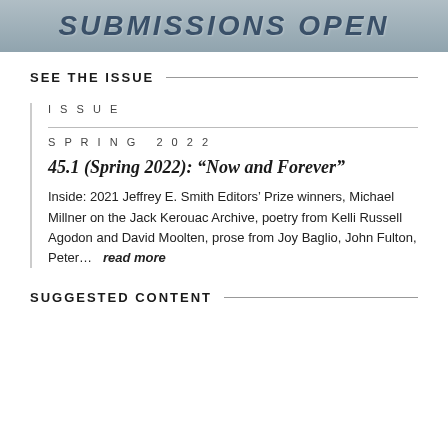[Figure (photo): Banner image with text 'SUBMISSIONS OPEN' in bold italic blue-gray letters over a muted background]
SEE THE ISSUE
ISSUE
SPRING 2022
45.1 (Spring 2022): “Now and Forever”
Inside: 2021 Jeffrey E. Smith Editors’ Prize winners, Michael Millner on the Jack Kerouac Archive, poetry from Kelli Russell Agodon and David Moolten, prose from Joy Baglio, John Fulton, Peter…   read more
SUGGESTED CONTENT